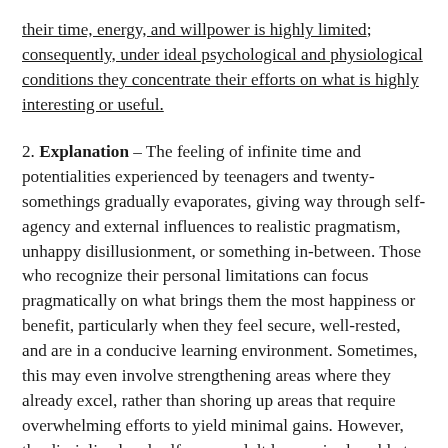their time, energy, and willpower is highly limited; consequently, under ideal psychological and physiological conditions they concentrate their efforts on what is highly interesting or useful.
2. Explanation – The feeling of infinite time and potentialities experienced by teenagers and twenty-somethings gradually evaporates, giving way through self-agency and external influences to realistic pragmatism, unhappy disillusionment, or something in-between. Those who recognize their personal limitations can focus pragmatically on what brings them the most happiness or benefit, particularly when they feel secure, well-rested, and are in a conducive learning environment. Sometimes, this may even involve strengthening areas where they already excel, rather than shoring up areas that require overwhelming efforts to yield minimal gains. However, the disciplined and self-aware adult learner is also able to direct their focus as appropriate to the goal at hand. For example, such an individual may focus on